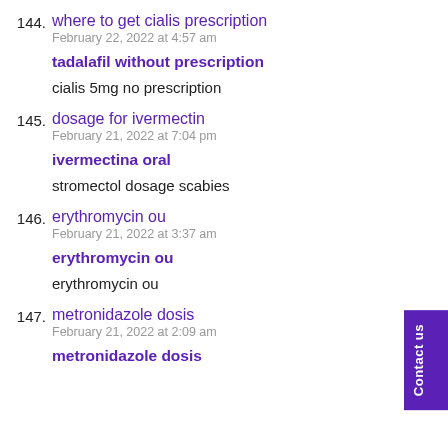144. where to get cialis prescription
February 22, 2022 at 4:57 am
tadalafil without prescription
cialis 5mg no prescription
145. dosage for ivermectin
February 21, 2022 at 7:04 pm
ivermectina oral
stromectol dosage scabies
146. erythromycin ou
February 21, 2022 at 3:37 am
erythromycin ou
erythromycin ou
147. metronidazole dosis
February 21, 2022 at 2:09 am
metronidazole dosis